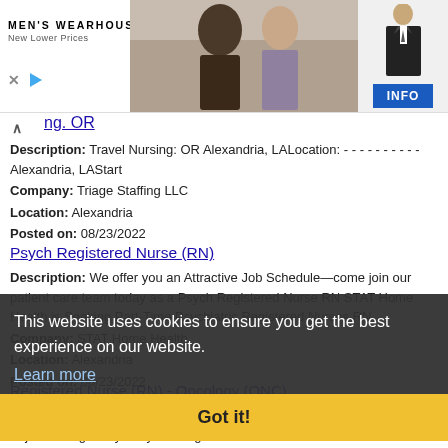[Figure (screenshot): Men's Wearhouse advertisement banner with couple in formal wear, suit figure, and INFO button]
ng. OR
Description: Travel Nursing: OR Alexandria, LALocation: ---------- Alexandria, LAStart
Company: Triage Staffing LLC
Location: Alexandria
Posted on: 08/23/2022
Psych Registered Nurse (RN)
Description: We offer you an Attractive Job Schedule—come join our patient care team today as a Psych Registered Nurse RN STAT Home Health is Seeking Part-Time Psychiatric Registered Nurses RN
Company: STAT Home Health
Location: Alexandria
Posted on: 08/23/2022
This website uses cookies to ensure you get the best experience on our website.
Learn more
Got it!
Registered Nurse (RN) - Oncology (ONC)
Description: Oncology opening in Alexandria, Louisiana. This and other rn jobs brought to you by NursingJobCafe.com br br